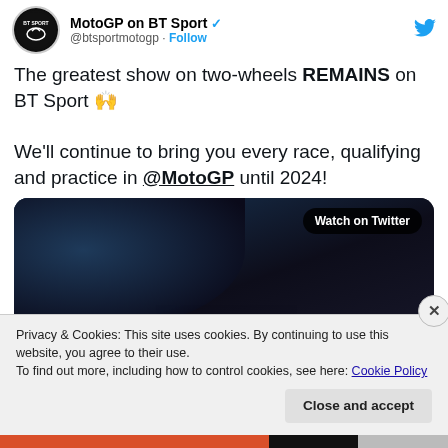MotoGP on BT Sport @btsportmotogp · Follow
The greatest show on two-wheels REMAINS on BT Sport 🙌

We'll continue to bring you every race, qualifying and practice in @MotoGP until 2024!
[Figure (screenshot): Video thumbnail showing '2024' in large white text over a dark motorcycle racing background, with a 'Watch on Twitter' badge in top right]
Privacy & Cookies: This site uses cookies. By continuing to use this website, you agree to their use.
To find out more, including how to control cookies, see here: Cookie Policy
Close and accept